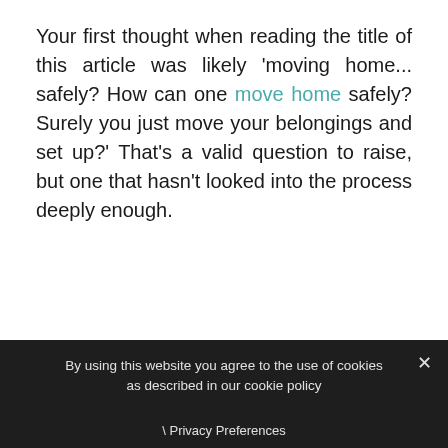Your first thought when reading the title of this article was likely 'moving home... safely? How can one move home safely? Surely you just move your belongings and set up?' That's a valid question to raise, but one that hasn't looked into the process deeply enough.
By using this website you agree to the use of cookies as described in our cookie policy  ×  \ Privacy Preferences